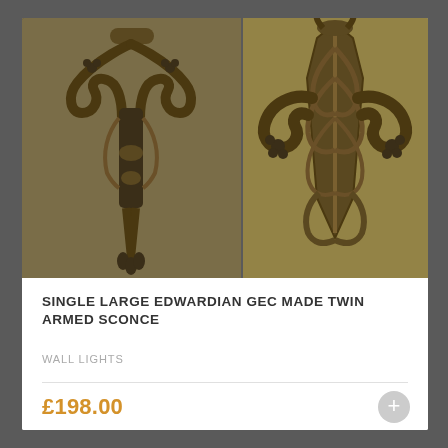[Figure (photo): Two side-by-side photos of a single large Edwardian GEC made twin armed sconce. Left photo shows full length view of the ornate gilded brass wall sconce with scrolling arms and decorative backplate. Right photo shows close-up detail of the decorative backplate with acanthus leaf and floral motifs in gilt finish.]
SINGLE LARGE EDWARDIAN GEC MADE TWIN ARMED SCONCE
WALL LIGHTS
£198.00